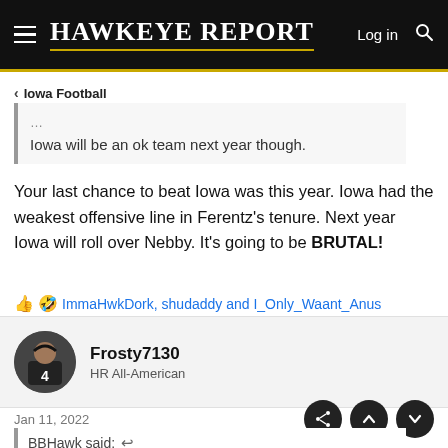HAWKEYE REPORT — Log in
< Iowa Football
Iowa will be an ok team next year though.
Your last chance to beat Iowa was this year. Iowa had the weakest offensive line in Ferentz's tenure. Next year Iowa will roll over Nebby. It's going to be BRUTAL!
ImmaHwkDork, shudaddy and I_Only_Waant_Anus
Frosty7130
HR All-American
Jan 11, 2022
BBHawk said: